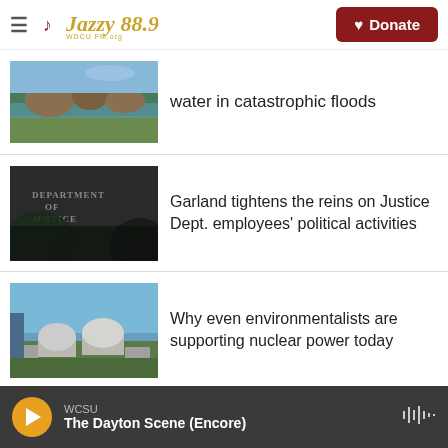Jazzy 88.9 WDCU FM.org | Donate
[Figure (photo): Flooded ruins with water, rocky landscape]
water in catastrophic floods
[Figure (photo): Department of Justice building sign with foliage in foreground, black and white]
Garland tightens the reins on Justice Dept. employees' political activities
[Figure (photo): Nuclear power plant domes near coastline]
Why even environmentalists are supporting nuclear power today
WCSU | The Dayton Scene (Encore)